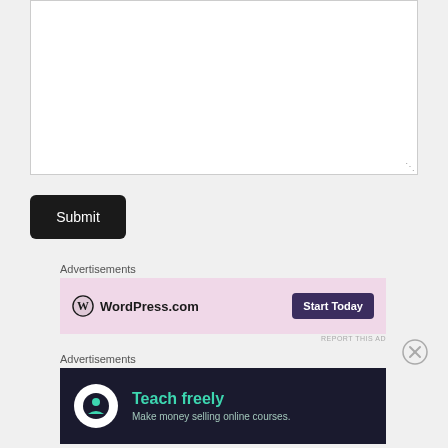[Figure (screenshot): A blank textarea input box with resize handle at bottom-right]
Submit
Advertisements
[Figure (screenshot): WordPress.com advertisement banner with pink background, WordPress logo on left and 'Start Today' dark button on right]
REPORT THIS AD
Advertisements
[Figure (screenshot): Dark advertisement banner with circular logo, teal 'Teach freely' heading and subtitle 'Make money selling online courses.']
REPORT THIS AD